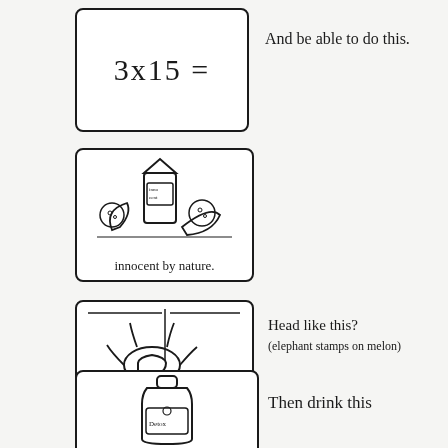[Figure (illustration): Hand-drawn box containing the math expression 3x15 =]
And be able to do this.
[Figure (illustration): Hand-drawn box with innocent by nature smoothie carton and fruits illustration, with caption 'innocent by nature.' at bottom]
[Figure (illustration): Hand-drawn box showing elephant stamp on melon — splashing impact illustration]
Head like this?
(elephant stamps on melon)
[Figure (illustration): Hand-drawn box showing a Detox bottle]
Then drink this